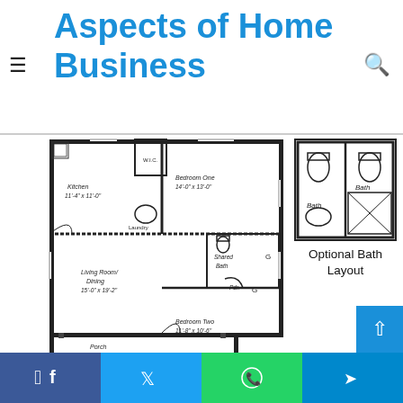Aspects of Home Business
[Figure (engineering-diagram): House floor plan showing Kitchen (11'-4" x 11'-0"), Bedroom One (14'-0" x 13'-0"), W.I.C., Laundry, Shared Bath, Living Room/Dining (15'-0" x 19'-2"), Bedroom Two (11'-8" x 10'-6"), Porch (8'-0" Deep), Pdr., and Optional Bath Layout inset.]
Optional Bath Layout
Facebook | Twitter | WhatsApp | Telegram